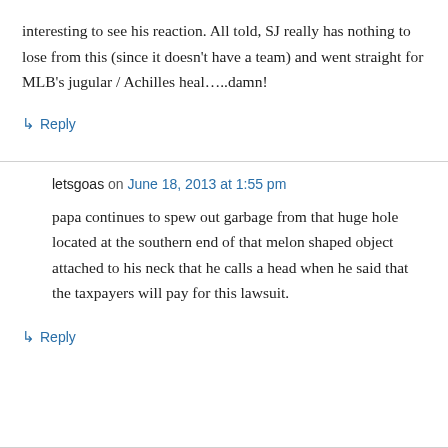interesting to see his reaction. All told, SJ really has nothing to lose from this (since it doesn't have a team) and went straight for MLB's jugular / Achilles heal…..damn!
↳ Reply
letsgoas on June 18, 2013 at 1:55 pm
papa continues to spew out garbage from that huge hole located at the southern end of that melon shaped object attached to his neck that he calls a head when he said that the taxpayers will pay for this lawsuit.
↳ Reply